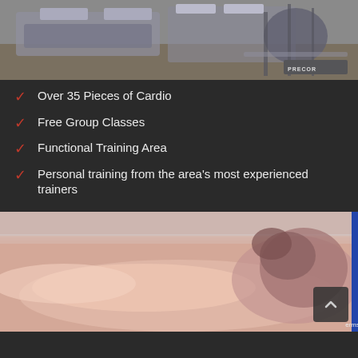[Figure (photo): Gym cardio equipment including treadmills and elliptical machines (Precor brand visible), viewed from floor level]
Over 35 Pieces of Cardio
Free Group Classes
Functional Training Area
Personal training from the area's most experienced trainers
[Figure (photo): Woman lying down in a tanning bed, relaxing with eyes closed, viewed from above/side]